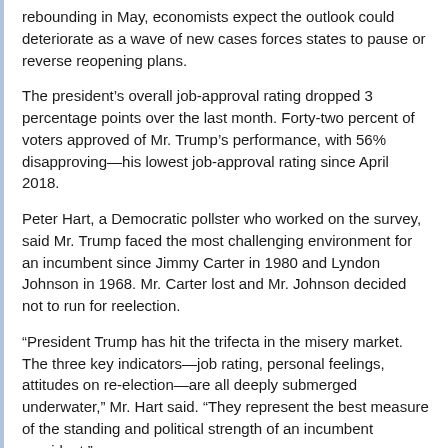rebounding in May, economists expect the outlook could deteriorate as a wave of new cases forces states to pause or reverse reopening plans.
The president's overall job-approval rating dropped 3 percentage points over the last month. Forty-two percent of voters approved of Mr. Trump's performance, with 56% disapproving—his lowest job-approval rating since April 2018.
Peter Hart, a Democratic pollster who worked on the survey, said Mr. Trump faced the most challenging environment for an incumbent since Jimmy Carter in 1980 and Lyndon Johnson in 1968. Mr. Carter lost and Mr. Johnson decided not to run for reelection.
“President Trump has hit the trifecta in the misery market. The three key indicators—job rating, personal feelings, attitudes on re-election—are all deeply submerged underwater,” Mr. Hart said. “They represent the best measure of the standing and political strength of an incumbent president.”
The coronavirus crisis continued to drag on Mr. Trump’s chances of winning reelection, with 37% of voters approving of his handling of the continuing outbreak and 59% disapproving. The number of voters who approve of Mr. Trump’s response to the pandemic has steadily dropped, falling 6 percentage points since last month and 8 percentage points